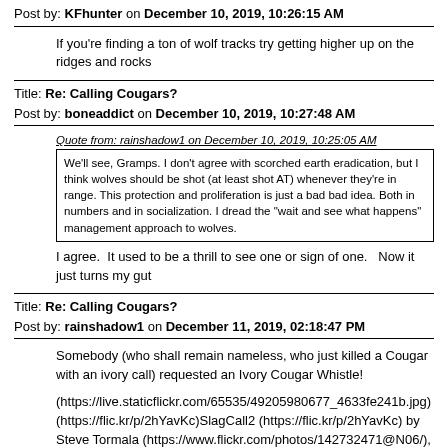Post by: KFhunter on December 10, 2019, 10:26:15 AM
If you're finding a ton of wolf tracks try getting higher up on the ridges and rocks
Title: Re: Calling Cougars?
Post by: boneaddict on December 10, 2019, 10:27:48 AM
Quote from: rainshadow1 on December 10, 2019, 10:25:05 AM
We'll see, Gramps. I don't agree with scorched earth eradication, but I think wolves should be shot (at least shot AT) whenever they're in range. This protection and proliferation is just a bad bad idea. Both in numbers and in socialization. I dread the "wait and see what happens" management approach to wolves.
I agree.  It used to be a thrill to see one or sign of one.   Now it just turns my gut
Title: Re: Calling Cougars?
Post by: rainshadow1 on December 11, 2019, 02:18:47 PM
Somebody (who shall remain nameless, who just killed a Cougar with an ivory call) requested an Ivory Cougar Whistle!
(https://live.staticflickr.com/65535/49205980677_4633fe241b.jpg)(https://flic.kr/p/2hYavKc)SlagCall2 (https://flic.kr/p/2hYavKc) by Steve Tormala (https://www.flickr.com/photos/142732471@N06/), on Flickr